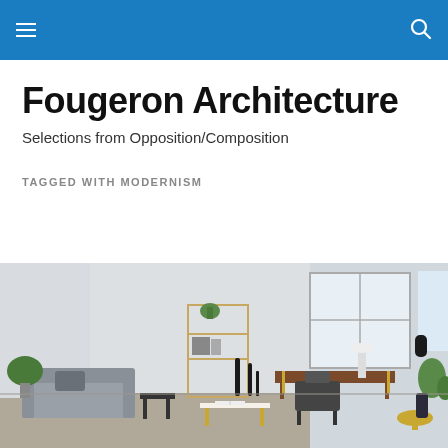Fougeron Architecture — navigation header with menu and search icons
Fougeron Architecture
Selections from Opposition/Composition
TAGGED WITH MODERNISM
[Figure (photo): Interior of a modern minimalist living room with grey sofa, small side tables, black candlesticks, a wooden shelving unit with plants, a desk with a chair, large windows letting in natural light, and a tropical plant in the right corner.]